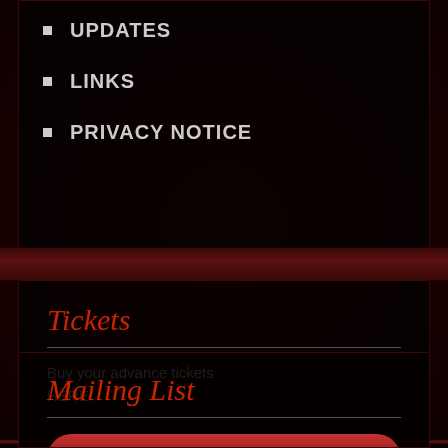UPDATES
LINKS
PRIVACY NOTICE
Tickets
Buy your advance tickets HERE.
Mailing List
Sign up now